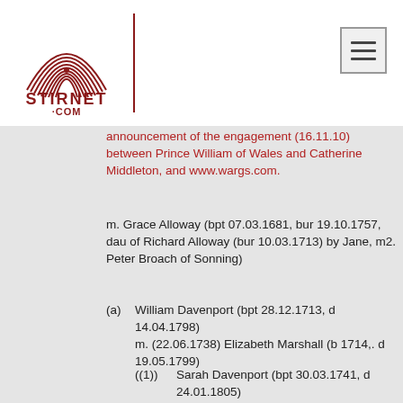[Figure (logo): Stirnet.com fingerprint logo with hamburger menu icon]
(partial) ...announcement of the engagement (16.11.10) between Prince William of Wales and Catherine Middleton, and www.wargs.com.
m. Grace Alloway (bpt 07.03.1681, bur 19.10.1757, dau of Richard Alloway (bur 10.03.1713) by Jane, m2. Peter Broach of Sonning)
(a) William Davenport (bpt 28.12.1713, d 14.04.1798)
m. (22.06.1738) Elizabeth Marshall (b 1714,. d 19.05.1799)
((1)) Sarah Davenport (bpt 30.03.1741, d 24.01.1805) m. Thomas Ashford (b 1731, d 12.02.1797)
((A)) Elizabeth Davenport Ashford (b 26.05.1777, d 04.1825)